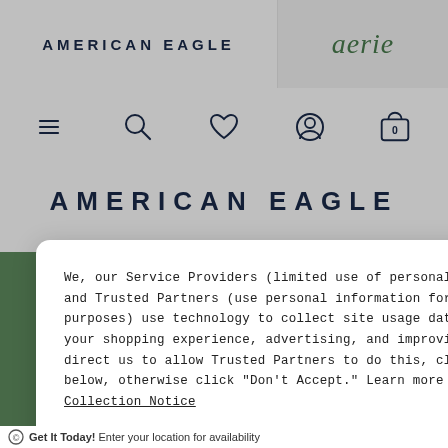AMERICAN EAGLE | aerie
[Figure (screenshot): Navigation icons row: hamburger menu, search, heart/wishlist, user account, shopping cart with 0]
AMERICAN EAGLE
[Figure (screenshot): Green banner background with partially visible text 'etails' link and partial product content]
We, our Service Providers (limited use of personal information), and Trusted Partners (use personal information for their own purposes) use technology to collect site usage data for enhancing your shopping experience, advertising, and improving our site. To direct us to allow Trusted Partners to do this, click “Accept” below, otherwise click “Don’t Accept.” Learn more in our Cookie Collection Notice
Accept
Don't Accept
Get It Today! Enter your location for availability